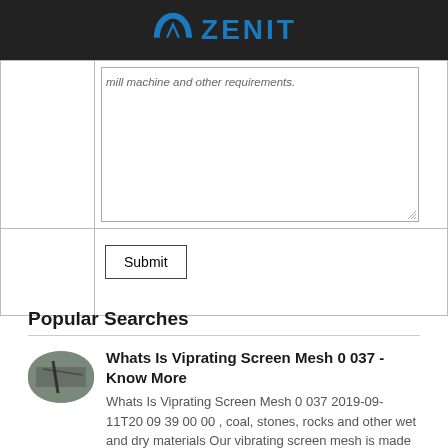[Figure (logo): Zenit company logo with blue arch symbol and blue ZENIT text on dark background]
|  | mill machine and other requirements. [textarea] |
|  | Submit [button] |
Popular Searches
[Figure (photo): Small oval thumbnail image of a vibrating screen mesh]
Whats Is Viprating Screen Mesh 0 037 - Know More
Whats Is Viprating Screen Mesh 0 037 2019-09-11T20 09 39 00 00 , coal, stones, rocks and other wet and dry materials Our vibrating screen mesh is made of high